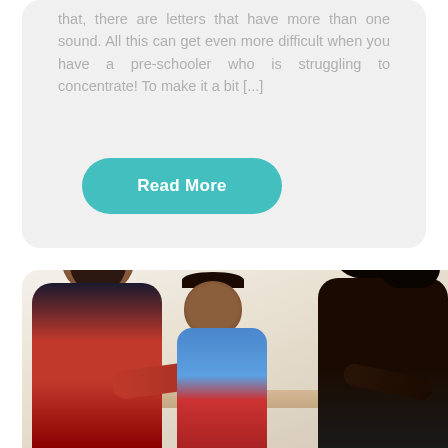that, there are letters that have more than one sound. All this can get even more difficult when you have a pre-schooler who is struggling to concentrate! To make it a bit [...]
Read More
[Figure (photo): A man in a red jacket, a young child in a striped top, and a woman with long dark hair are sitting together at a table, engaged in an activity. The photo appears to show parents helping their child with learning activities.]